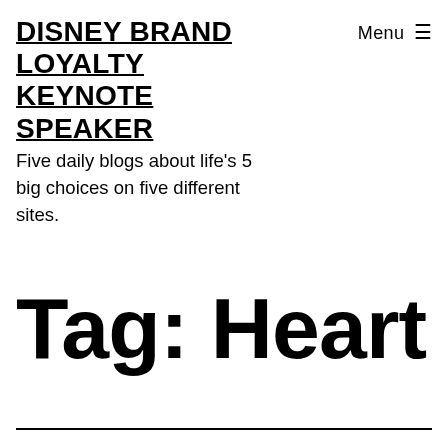DISNEY BRAND LOYALTY KEYNOTE SPEAKER
Menu ☰
Five daily blogs about life's 5 big choices on five different sites.
Tag: Heart